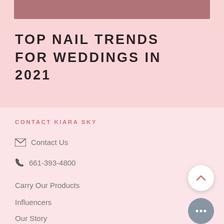[Figure (other): Mauve/dusty rose colored decorative bar at top of page]
TOP NAIL TRENDS FOR WEDDINGS IN 2021
CONTACT KIARA SKY
Contact Us
661-393-4800
Carry Our Products
Influencers
Our Story